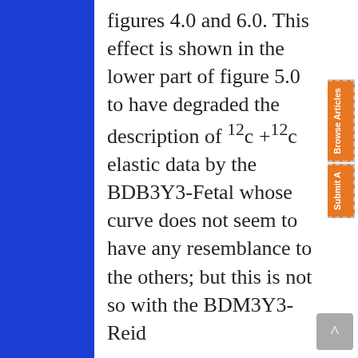figures 4.0 and 6.0. This effect is shown in the lower part of figure 5.0 to have degraded the description of 12c +12c elastic data by the BDB3Y3-Fetal whose curve does not seem to have any resemblance to the others; but this is not so with the BDM3Y3-Reid